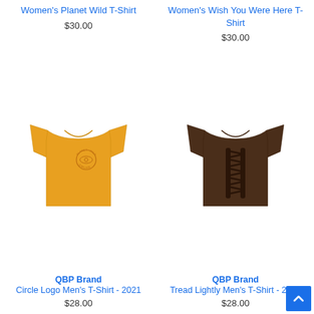Women's Planet Wild T-Shirt
$30.00
Women's Wish You Were Here T-Shirt
$30.00
[Figure (photo): Golden yellow QBP Brand men's t-shirt with small circular eye logo on chest]
QBP Brand
Circle Logo Men's T-Shirt - 2021
$28.00
[Figure (photo): Dark brown QBP Brand men's t-shirt with tread lace pattern on back]
QBP Brand
Tread Lightly Men's T-Shirt - 2021
$28.00